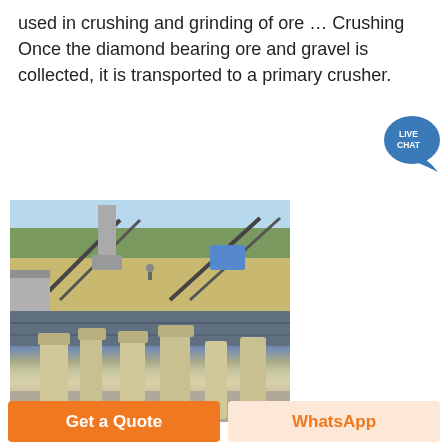used in crushing and grinding of ore … Crushing Once the diamond bearing ore and gravel is collected, it is transported to a primary crusher.
[Figure (photo): Outdoor mining facility with conveyor belts, large steel structures, and gravel processing equipment under a bright sky with green trees in background.]
[Figure (photo): Indoor industrial building with large yellow/beige grinding or crushing machinery and supporting columns inside a metal-roofed facility.]
[Figure (illustration): Live Chat button icon — teal speech bubble with LIVE CHAT text.]